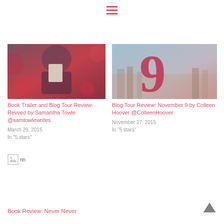[Figure (other): Hamburger menu icon with three horizontal red/pink lines]
[Figure (photo): Book cover for Revved by Samantha Towle, showing a muscular figure holding a book with red bokeh lighting]
Book Trailer and Blog Tour Review: Revved by Samantha Towle @samtowlewrites
March 29, 2015
In "5 stars"
[Figure (photo): Book cover for November 9 by Colleen Hoover, showing a large red number 9 overlaid on a city background]
Blog Tour Review: November 9 by Colleen Hoover @ColleenHoover
November 27, 2015
In "5 stars"
[Figure (other): Broken image placeholder labeled nn]
Book Review: Never Never